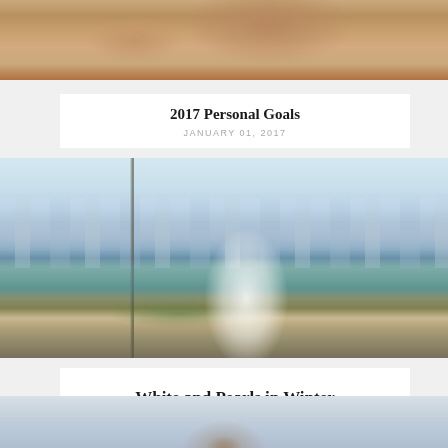[Figure (photo): Close-up photo of a woman's face, partially visible, cropped at top]
2017 Personal Goals
JANUARY 01, 2017
[Figure (photo): Woman in white outfit standing at a waterfront with city skyline behind her]
White and Pearls in Winter
JANUARY 08, 2017
[Figure (photo): Partially visible photo at bottom of page, hazy outdoor scene]